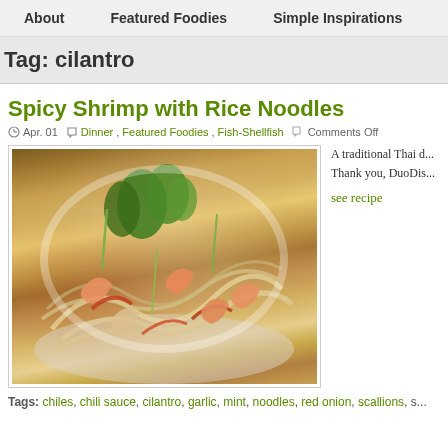About | Featured Foodies | Simple Inspirations
Tag: cilantro
Spicy Shrimp with Rice Noodles
Apr. 01   Dinner, Featured Foodies, Fish-Shellfish   Comments Off
[Figure (photo): A bowl of spicy shrimp with rice noodles, garnished with fresh cilantro and scallions]
A traditional Thai d... Thank you, DuoDis...
see recipe
Tags: chiles, chili sauce, cilantro, garlic, mint, noodles, red onion, scallions, s...